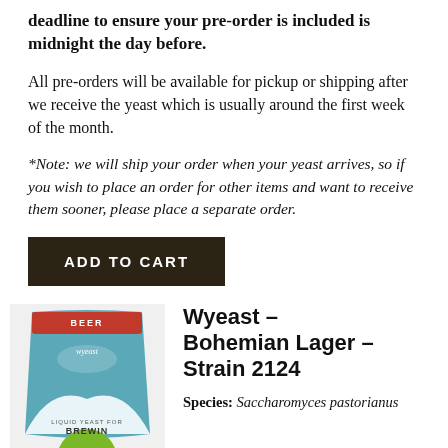deadline to ensure your pre-order is included is midnight the day before.
All pre-orders will be available for pickup or shipping after we receive the yeast which is usually around the first week of the month.
*Note: we will ship your order when your yeast arrives, so if you wish to place an order for other items and want to receive them sooner, please place a separate order.
[Figure (other): Dark brown 'ADD TO CART' button]
[Figure (photo): Wyeast liquid yeast package for beer brewing, teal and white packaging with wyeast logo, with a green circular badge at the bottom]
Wyeast – Bohemian Lager – Strain 2124
Species: Saccharomyces pastorianus